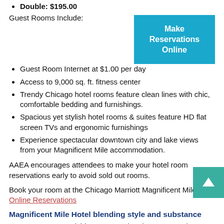Double: $195.00
Guest Rooms Include:
[Figure (other): Make Reservations Online button (teal/cyan background with white bold text)]
Guest Room Internet at $1.00 per day
Access to 9,000 sq. ft. fitness center
Trendy Chicago hotel rooms feature clean lines with chic, comfortable bedding and furnishings.
Spacious yet stylish hotel rooms & suites feature HD flat screen TVs and ergonomic furnishings
Experience spectacular downtown city and lake views from your Magnificent Mile accommodation.
AAEA encourages attendees to make your hotel room reservations early to avoid sold out rooms.
Book your room at the Chicago Marriott Magnificent Mile
Online Reservations
Magnificent Mile Hotel blending style and substance
Not your average Michigan Avenue hotel. We're your host to help you experience Chicago to its fullest. Magnificent shopping. Renowned dining. Chicago's top attractions - Navy